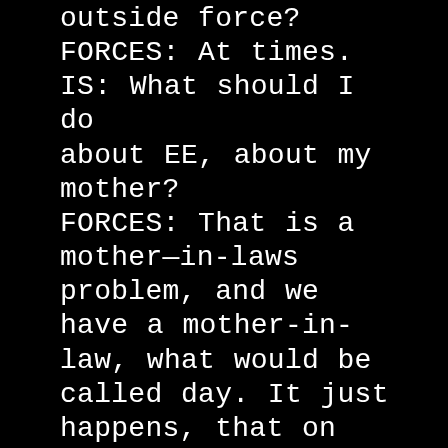outside force? FORCES: At times. IS: What should I do about EE, about my mother? FORCES: That is a mother—in-laws problem, and we have a mother-in-law, what would be called day. It just happens, that on your calendar, it falls this Sunday. What do you do about your Moth—